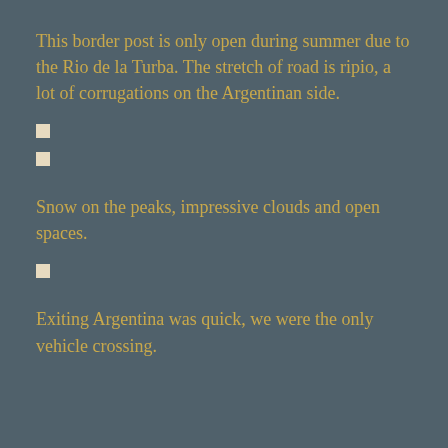This border post is only open during summer due to the Rio de la Turba. The stretch of road is ripio, a lot of corrugations on the Argentinan side.
■
■
Snow on the peaks, impressive clouds and open spaces.
■
Exiting Argentina was quick, we were the only vehicle crossing.